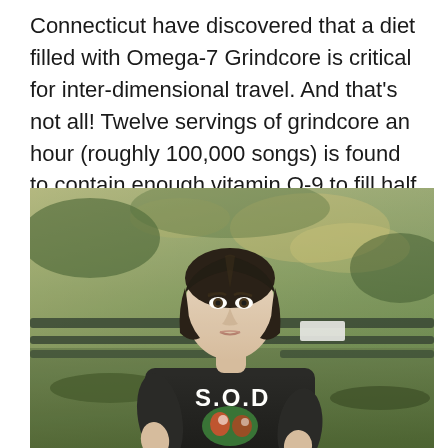Connecticut have discovered that a diet filled with Omega-7 Grindcore is critical for inter-dimensional travel. And that's not all! Twelve servings of grindcore an hour (roughly 100,000 songs) is found to contain enough vitamin Q-9 to fill half of the Grand Canyon with lettuce flavored Jell-O.
[Figure (photo): A young person with long dark hair pulled back, wearing a black S.O.D. band t-shirt, sitting on a park bench outdoors. The background shows green trees and foliage slightly out of focus.]